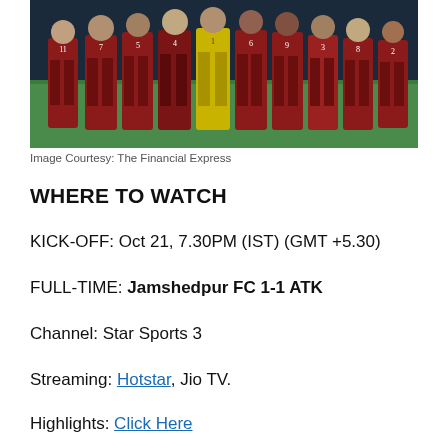[Figure (photo): Football team players in red jerseys standing in a row on a pitch, with one player in yellow goalkeeper kit]
Image Courtesy: The Financial Express
WHERE TO WATCH
KICK-OFF: Oct 21, 7.30PM (IST) (GMT +5.30)
FULL-TIME: Jamshedpur FC 1-1 ATK
Channel: Star Sports 3
Streaming: Hotstar, Jio TV.
Highlights: Click Here
Venue: JRD Tata Sports Complex Stadium, Jamshedpur.